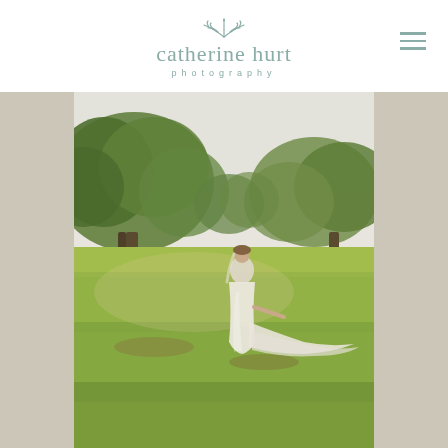[Figure (logo): Catherine Hurt Photography logo with leaf/branch illustration above the name, muted teal color]
[Figure (photo): Bride in a flowing white wedding gown standing in a green sunlit field, holding up the train of her dress, with large oak trees in the background. Soft golden light. Outdoor bridal portrait.]